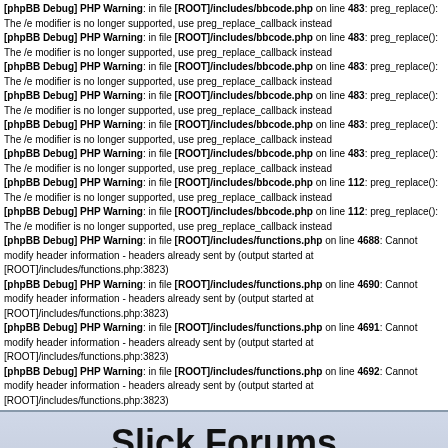[phpBB Debug] PHP Warning: in file [ROOT]/includes/bbcode.php on line 483: preg_replace(): The /e modifier is no longer supported, use preg_replace_callback instead (repeated multiple times) [phpBB Debug] PHP Warning: in file [ROOT]/includes/bbcode.php on line 112: preg_replace(): The /e modifier is no longer supported, use preg_replace_callback instead (repeated) [phpBB Debug] PHP Warning: in file [ROOT]/includes/functions.php on line 4688: Cannot modify header information - headers already sent by (output started at [ROOT]/includes/functions.php:3823) [phpBB Debug] PHP Warning: in file [ROOT]/includes/functions.php on line 4690: Cannot modify header information - headers already sent by (output started at [ROOT]/includes/functions.php:3823) [phpBB Debug] PHP Warning: in file [ROOT]/includes/functions.php on line 4691: Cannot modify header information - headers already sent by (output started at [ROOT]/includes/functions.php:3823) [phpBB Debug] PHP Warning: in file [ROOT]/includes/functions.php on line 4692: Cannot modify header information - headers already sent by (output started at [ROOT]/includes/functions.php:3823)
Slick Forums
Discuss the Slick 2D Library
Login  Register  FAQ  Search
It is currently Tue Aug 30, 2022 4:40 am